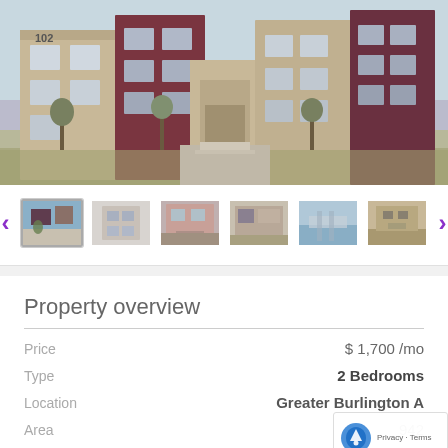[Figure (photo): Exterior photo of a modern multi-story residential apartment building with maroon/dark red accent panels, beige/tan siding, large windows, and landscaping with grasses and young trees in front. Building number 102 visible on left unit.]
[Figure (photo): Thumbnail image strip showing 6 thumbnails of the property: exterior view, corridor/hallway, pink/tan building exterior, building facade, waterfront/dock view, outdoor amenity area. Navigation arrows on each side in purple.]
Property overview
| Field | Value |
| --- | --- |
| Price | $ 1,700 /mo |
| Type | 2 Bedrooms |
| Location | Greater Burlington A... |
| Area | 942 |
| Baths | 2 |